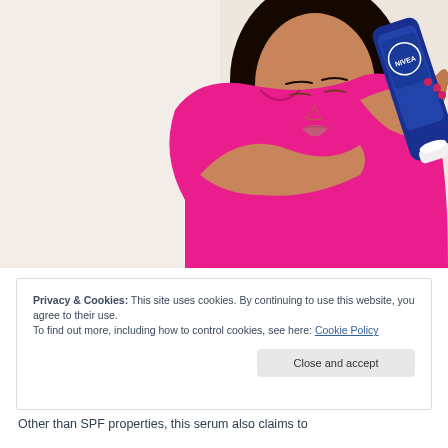[Figure (photo): A young Asian woman in a bright pink sleeveless polo shirt holding a blue Nivea product tube up near her shoulder, looking down at it. She has long dark hair. The background is light/white.]
Privacy & Cookies: This site uses cookies. By continuing to use this website, you agree to their use.
To find out more, including how to control cookies, see here: Cookie Policy
Close and accept
Other than SPF properties, this serum also claims to